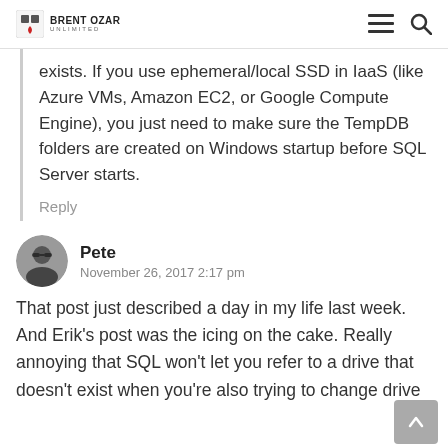Brent Ozar Unlimited
exists. If you use ephemeral/local SSD in IaaS (like Azure VMs, Amazon EC2, or Google Compute Engine), you just need to make sure the TempDB folders are created on Windows startup before SQL Server starts.
Reply
Pete
November 26, 2017 2:17 pm
That post just described a day in my life last week. And Erik's post was the icing on the cake. Really annoying that SQL won't let you refer to a drive that doesn't exist when you're also trying to change drive letters at the same time.